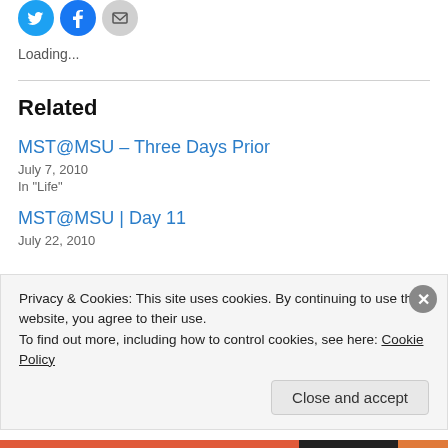[Figure (illustration): Social sharing icon buttons: Twitter (blue bird), Facebook (blue F), Email (gray envelope)]
Loading...
Related
MST@MSU – Three Days Prior
July 7, 2010
In "Life"
MST@MSU | Day 11
July 22, 2010
Privacy & Cookies: This site uses cookies. By continuing to use this website, you agree to their use.
To find out more, including how to control cookies, see here: Cookie Policy